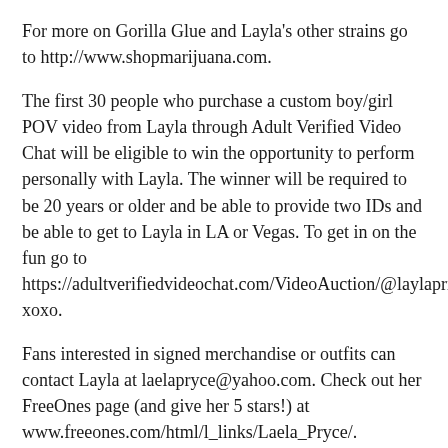For more on Gorilla Glue and Layla's other strains go to http://www.shopmarijuana.com.
The first 30 people who purchase a custom boy/girl POV video from Layla through Adult Verified Video Chat will be eligible to win the opportunity to perform personally with Layla. The winner will be required to be 20 years or older and be able to provide two IDs and be able to get to Layla in LA or Vegas. To get in on the fun go to https://adultverifiedvideochat.com/VideoAuction/@laylaprice xoxo.
Fans interested in signed merchandise or outfits can contact Layla at laelapryce@yahoo.com. Check out her FreeOnes page (and give her 5 stars!) at www.freeones.com/html/l_links/Laela_Pryce/.
Layla is available for feature dancing and hosting gigs through Centerfolds Strips